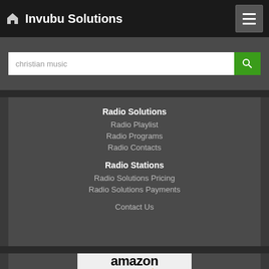Invubu Solutions
christian music
Radio Solutions
Radio Playlist
Radio Programs
Radio Contacts
Radio Stations
Radio Solutions Pricing
Radio Solutions Payments
Contact Us
[Figure (logo): Available at amazon logo with orange arrow swoosh]